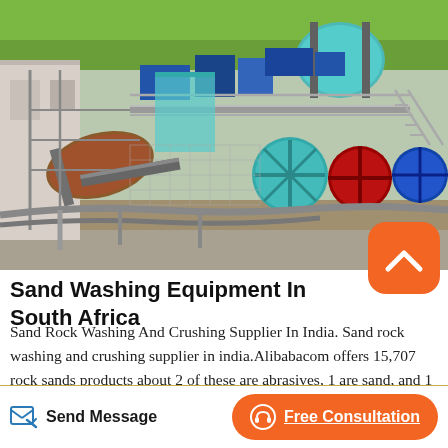[Figure (photo): Industrial sand washing and crushing equipment facility with large rotating drums, conveyor systems, metal walkways, and colorful machinery components including blue, teal, red, and orange-brown cylinders and drums, set outdoors with green fields in the background.]
Sand Washing Equipment In South Africa
Sand Rock Washing And Crushing Supplier In India. Sand rock washing and crushing supplier in india.Alibabacom offers 15,707 rock sands products about 2 of these are abrasives, 1 are sand, and 1 are artificial stone a wide variety of rock sands options
Send Message
Free Consultation